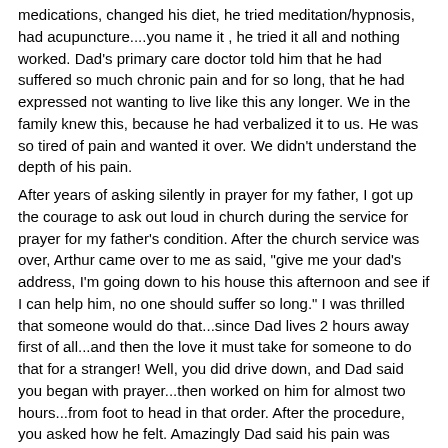medications, changed his diet, he tried meditation/hypnosis, had acupuncture....you name it , he tried it all and nothing worked. Dad's primary care doctor told him that he had suffered so much chronic pain and for so long, that he had expressed not wanting to live like this any longer. We in the family knew this, because he had verbalized it to us. He was so tired of pain and wanted it over. We didn't understand the depth of his pain.
After years of asking silently in prayer for my father, I got up the courage to ask out loud in church during the service for prayer for my father's condition. After the church service was over, Arthur came over to me as said, "give me your dad's address, I'm going down to his house this afternoon and see if I can help him, no one should suffer so long." I was thrilled that someone would do that...since Dad lives 2 hours away first of all...and then the love it must take for someone to do that for a stranger! Well, you did drive down, and Dad said you began with prayer...then worked on him for almost two hours...from foot to head in that order. After the procedure, you asked how he felt. Amazingly Dad said his pain was GONE! For the first time in all those 65 years he didn't feel head pain! He even took a short walk outside, which he hadn't done for years either. It has been 3 years now, and I still call to see how he is doing, and he has had NO HEADACHES since the treatment! I praise God for this "miracle" for that is what it truly is, but , also Arthur for your skill and abilities and caring to do this work to help people with their pain and letting God use you as His instrument on earth. We will always be